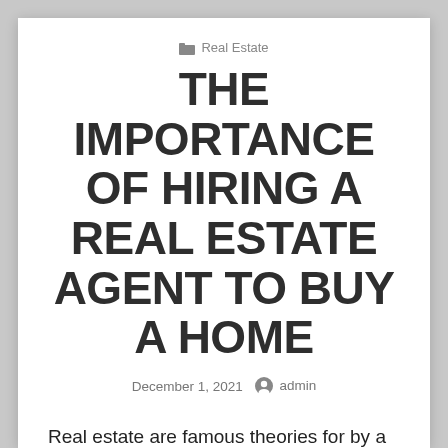Real Estate
THE IMPORTANCE OF HIRING A REAL ESTATE AGENT TO BUY A HOME
December 1, 2021   admin
Real estate are famous theories for by a long shot most. Regardless before any speculation is made, first evaluation and study what you are expecting to